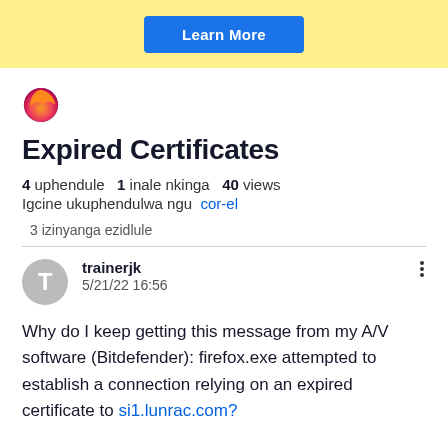[Figure (other): Yellow banner with a blue 'Learn More' button]
[Figure (logo): Firefox browser logo (flame fox icon)]
Expired Certificates
4 uphendule  1 inale nkinga  40 views
Igcine ukuphendulwa ngu cor-el
3 izinyanga ezidlule
trainerjk
5/21/22 16:56
Why do I keep getting this message from my A/V software (Bitdefender): firefox.exe attempted to establish a connection relying on an expired certificate to si1.lunrac.com?